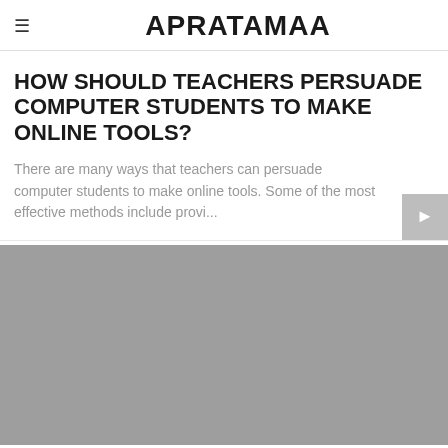APRATAMAA
HOW SHOULD TEACHERS PERSUADE COMPUTER STUDENTS TO MAKE ONLINE TOOLS?
There are many ways that teachers can persuade computer students to make online tools. Some of the most effective methods include provi...
[Figure (photo): Gray placeholder image block at the bottom of the page]